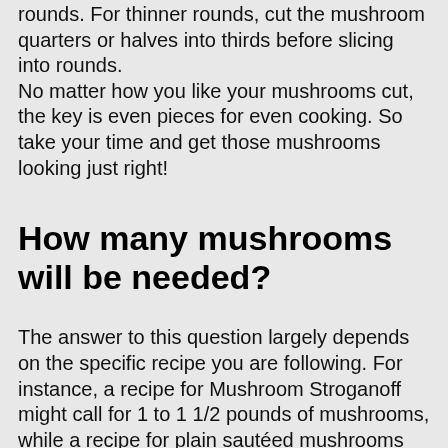rounds. For thinner rounds, cut the mushroom quarters or halves into thirds before slicing into rounds.
No matter how you like your mushrooms cut, the key is even pieces for even cooking. So take your time and get those mushrooms looking just right!
How many mushrooms will be needed?
The answer to this question largely depends on the specific recipe you are following. For instance, a recipe for Mushroom Stroganoff might call for 1 to 1 1/2 pounds of mushrooms, while a recipe for plain sautéed mushrooms might only require 1/2 pound. As a general rule of thumb, one pound of mushrooms will provide four servings. Therefore, if you are cooking for a group of four people, you will need one pound of mushrooms. If you are